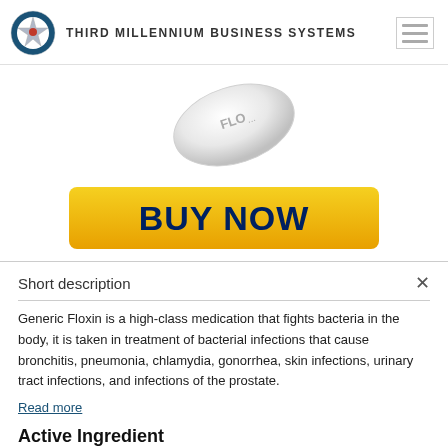THIRD MILLENNIUM BUSINESS SYSTEMS
[Figure (photo): A white oval pill/tablet with 'FLO' text visible, shown at an angle on a white background.]
[Figure (other): Yellow 'BUY NOW' button with dark navy bold text on a gradient yellow-orange background with rounded corners.]
Short description
Generic Floxin is a high-class medication that fights bacteria in the body, it is taken in treatment of bacterial infections that cause bronchitis, pneumonia, chlamydia, gonorrhea, skin infections, urinary tract infections, and infections of the prostate.
Read more
Active Ingredient
Ofloxacin.